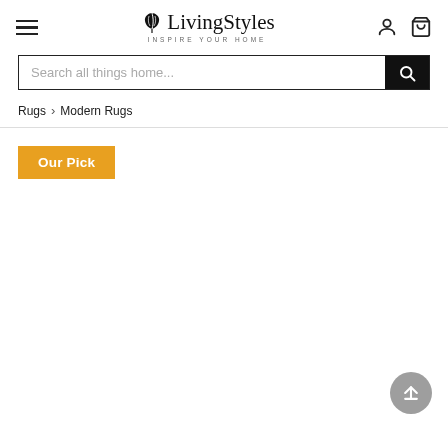LivingStyles — INSPIRE YOUR HOME
Search all things home...
Rugs › Modern Rugs
Our Pick